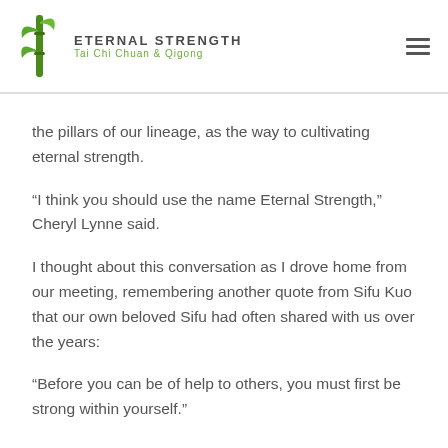Eternal Strength Tai Chi Chuan & Qigong
the pillars of our lineage, as the way to cultivating eternal strength.
“I think you should use the name Eternal Strength,” Cheryl Lynne said.
I thought about this conversation as I drove home from our meeting, remembering another quote from Sifu Kuo that our own beloved Sifu had often shared with us over the years:
“Before you can be of help to others, you must first be strong within yourself.”